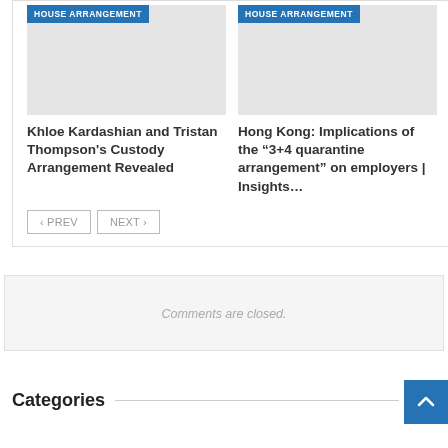[Figure (other): Card with HOUSE ARRANGEMENT badge and grey placeholder image]
Khloe Kardashian and Tristan Thompson's Custody Arrangement Revealed
[Figure (other): Card with HOUSE ARRANGEMENT badge and grey placeholder image]
Hong Kong: Implications of the “3+4 quarantine arrangement” on employers | Insights…
< PREV  NEXT >
Comments are closed.
Categories